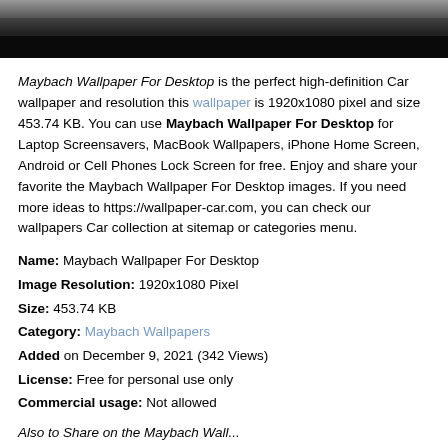[Figure (photo): Dark strip showing bottom portion of a Maybach car against pavement background]
Maybach Wallpaper For Desktop is the perfect high-definition Car wallpaper and resolution this wallpaper is 1920x1080 pixel and size 453.74 KB. You can use Maybach Wallpaper For Desktop for Laptop Screensavers, MacBook Wallpapers, iPhone Home Screen, Android or Cell Phones Lock Screen for free. Enjoy and share your favorite the Maybach Wallpaper For Desktop images. If you need more ideas to https://wallpaper-car.com, you can check our wallpapers Car collection at sitemap or categories menu.
Name: Maybach Wallpaper For Desktop
Image Resolution: 1920x1080 Pixel
Size: 453.74 KB
Category: Maybach Wallpapers
Added on December 9, 2021 (342 Views)
License: Free for personal use only
Commercial usage: Not allowed
Also to Share on the Maybach Wall...